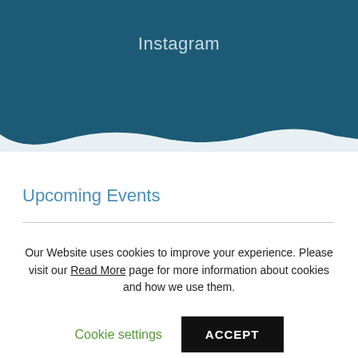Instagram
Upcoming Events
Our Website uses cookies to improve your experience. Please visit our Read More page for more information about cookies and how we use them.
Cookie settings   ACCEPT